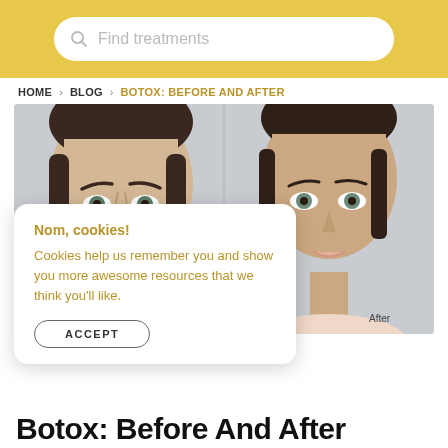Find treatments
HOME > BLOG > BOTOX: BEFORE AND AFTER
[Figure (photo): Before and after comparison photos of a woman's face showing results of Botox treatment. Left image shows frown lines between eyebrows; right image shows smooth forehead. Label 'After' appears under the right photo.]
Nom, cookies!

Cookies help us remember you and show you more awesome resources that we think you'll like.

ACCEPT
Botox: Before And After